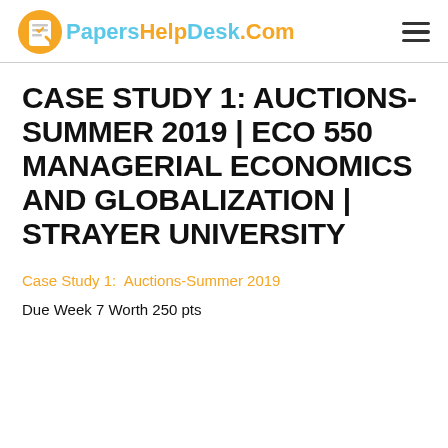PapersHelpDesk.Com
CASE STUDY 1: AUCTIONS-SUMMER 2019 | ECO 550 MANAGERIAL ECONOMICS AND GLOBALIZATION | STRAYER UNIVERSITY
Case Study 1:  Auctions-Summer 2019
Due Week 7 Worth 250 pts